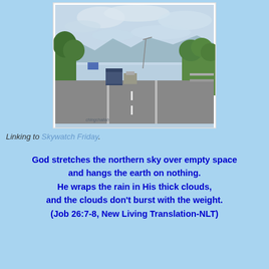[Figure (photo): Road scene taken from inside a vehicle — a multi-lane highway with trees on both sides, vehicles ahead including a truck and SUV, mountains in the background, overcast/cloudy sky, streetlamps visible. Watermark text 'chingchailah' in the lower left.]
Linking to Skywatch Friday.
God stretches the northern sky over empty space and hangs the earth on nothing. He wraps the rain in His thick clouds, and the clouds don't burst with the weight. (Job 26:7-8, New Living Translation-NLT)